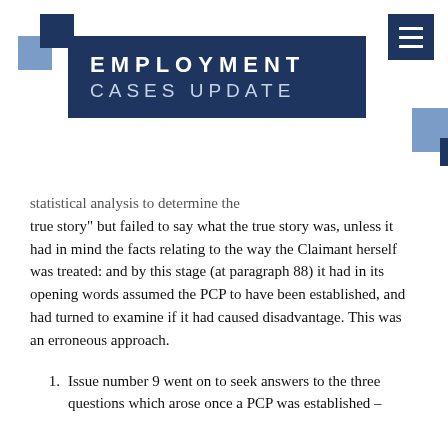EMPLOYMENT CASES UPDATE
statistical analysis to determine the true story" but failed to say what the true story was, unless it had in mind the facts relating to the way the Claimant herself was treated: and by this stage (at paragraph 88) it had in its opening words assumed the PCP to have been established, and had turned to examine if it had caused disadvantage. This was an erroneous approach.
Issue number 9 went on to seek answers to the three questions which arose once a PCP was established –